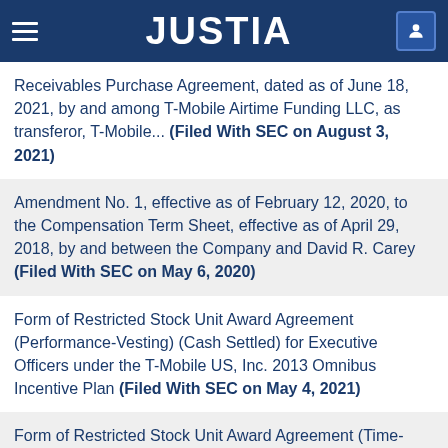JUSTIA
Receivables Purchase Agreement, dated as of June 18, 2021, by and among T-Mobile Airtime Funding LLC, as transferor, T-Mobile... (Filed With SEC on August 3, 2021)
Amendment No. 1, effective as of February 12, 2020, to the Compensation Term Sheet, effective as of April 29, 2018, by and between the Company and David R. Carey (Filed With SEC on May 6, 2020)
Form of Restricted Stock Unit Award Agreement (Performance-Vesting) (Cash Settled) for Executive Officers under the T-Mobile US, Inc. 2013 Omnibus Incentive Plan (Filed With SEC on May 4, 2021)
Form of Restricted Stock Unit Award Agreement (Time-Vesting) for Executive Officers under the Sprint Corporation 2015 Amended and Restated Omnibus